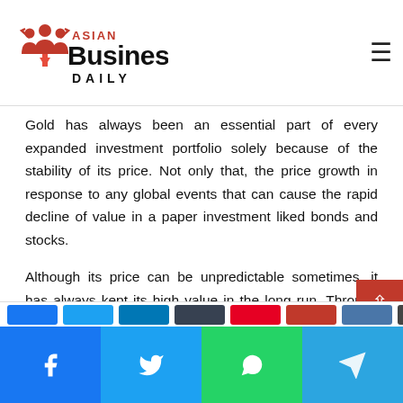Asian Business Daily
Gold has always been an essential part of every expanded investment portfolio solely because of the stability of its price. Not only that, the price growth in response to any global events that can cause the rapid decline of value in a paper investment liked bonds and stocks.
Although its price can be unpredictable sometimes, it has always kept its high value in the long run. Through the years, it served as a safeguard or protection against sudden inflation and erosion of important fiat money; that is why it is a perfect idea to consider investing in it.
Share buttons: Facebook, Twitter, LinkedIn, Tumblr, Pinterest, Reddit, VK, Email